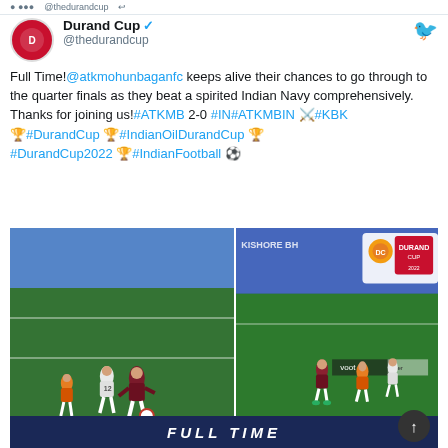@thedurandcup (partial, scrolled)
Durand Cup @thedurandcup
Full Time!@atkmohunbaganfc keeps alive their chances to go through to the quarter finals as they beat a spirited Indian Navy comprehensively. Thanks for joining us!#ATKMB 2-0 #IN#ATKMBIN ⚔️#KBK 🏆#DurandCup 🏆#IndianOilDurandCup 🏆#DurandCup2022 🏆#IndianFootball ⚽
[Figure (photo): Two side-by-side football match photos from Durand Cup. Left photo shows ATK Mohun Bagan player in maroon-green jersey dribbling past Indian Navy player wearing number 12. Right photo shows players running on football pitch with Durand Cup branding visible. Bottom banner reads FULL TIME.]